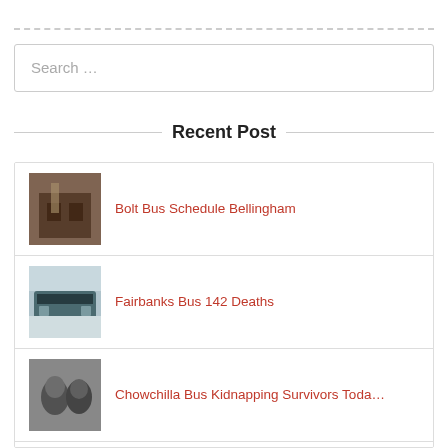[Figure (screenshot): Dashed horizontal divider line]
Search …
Recent Post
Bolt Bus Schedule Bellingham
Fairbanks Bus 142 Deaths
Chowchilla Bus Kidnapping Survivors Toda…
Bc Bus Prince George To Terrace